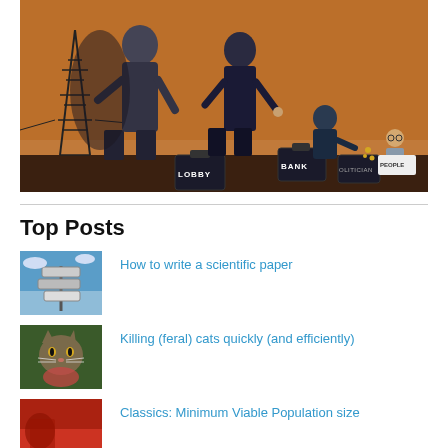[Figure (illustration): Political cartoon showing large figures labeled LOBBY and BANK extracting money from a POLITICIAN figure, who in turn takes from a small PEOPLE figure, set against an orange background with a power transmission tower.]
Top Posts
[Figure (photo): Thumbnail image of directional signpost against blue sky]
How to write a scientific paper
[Figure (photo): Thumbnail image of a feral cat]
Killing (feral) cats quickly (and efficiently)
[Figure (photo): Thumbnail image with red background]
Classics: Minimum Viable Population size